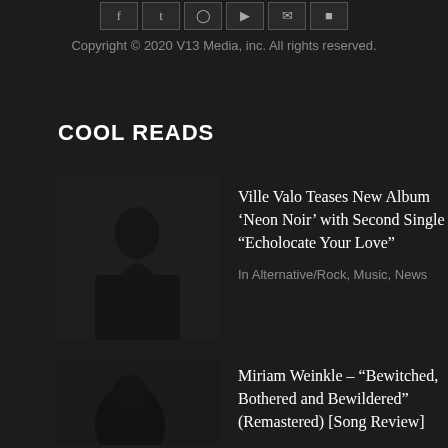[Figure (other): Row of social media icon buttons (Facebook, Twitter, Instagram, YouTube, and others) with dark backgrounds and gray borders]
Copyright © 2020 V13 Media, inc. All rights reserved.
COOL READS
[Figure (photo): Dark portrait photo of a person standing against a dark background, mostly silhouette]
Ville Valo Teases New Album ‘Neon Noir’ with Second Single “Echolocate Your Love”
In Alternative/Rock, Music, News
[Figure (photo): Dark photo with partial view of a person, very dark and moody]
Miriam Weinkle – “Bewitched, Bothered and Bewildered” (Remastered) [Song Review]